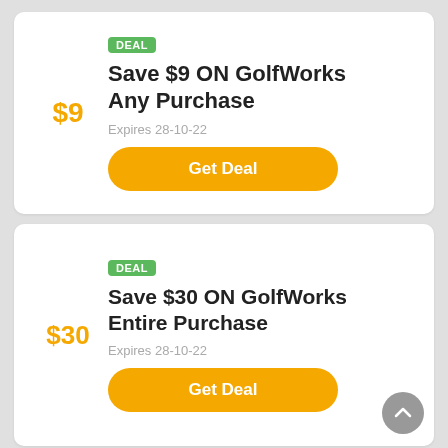DEAL
Save $9 ON GolfWorks Any Purchase
Expires 28-10-22
$9
Get Deal
DEAL
Save $30 ON GolfWorks Entire Purchase
Expires 28-10-22
$30
Get Deal
DEAL